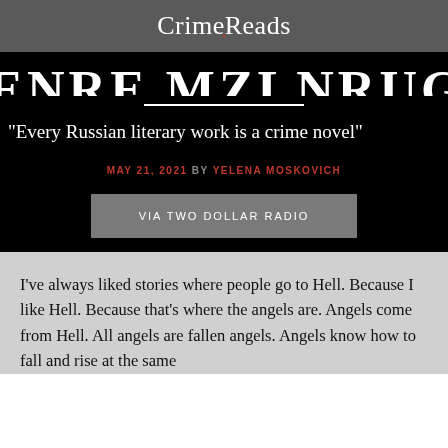CrimeReads
GENRE MZLNRUGL
"Every Russian literary work is a crime novel"
MAY 21, 2021 BY YELENA MOSKOVICH
VIA TWO DOLLAR RADIO
I’ve always liked stories where people go to Hell. Because I like Hell. Because that’s where the angels are. Angels come from Hell. All angels are fallen angels. Angels know how to fall and rise at the same